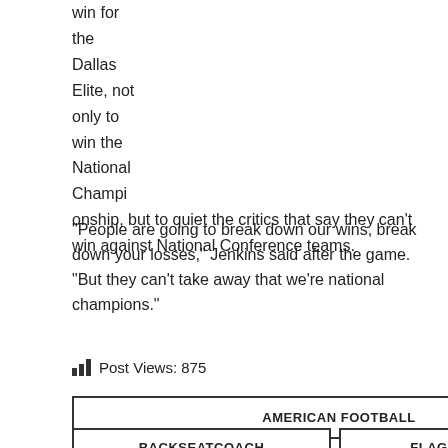win for the Dallas Elite, not only to win the National Championship, but to quiet the critics that say they can't win against National Conference teams.
“People are going to break down our wins, break down your losses,” Jenkins said after the game. “But they can’t take away that we’re national champions.”
Post Views: 875
AMERICAN FOOTBALL
BACKSEATCOACH
FLAG FOOTBALL